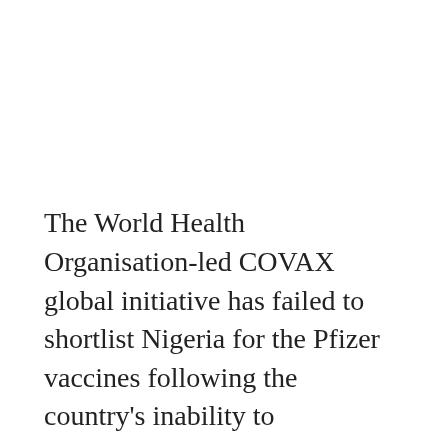The World Health Organisation-led COVAX global initiative has failed to shortlist Nigeria for the Pfizer vaccines following the country's inability to